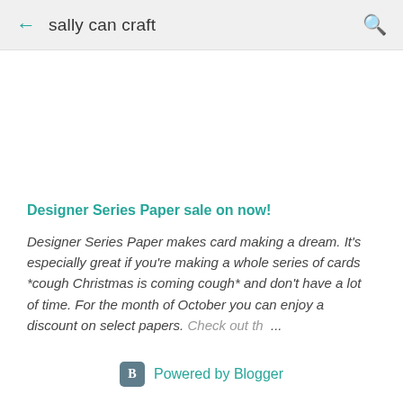sally can craft
[Figure (other): Blank white image placeholder area]
Designer Series Paper sale on now!
Designer Series Paper makes card making a dream. It's especially great if you're making a whole series of cards *cough Christmas is coming cough* and don't have a lot of time. For the month of October you can enjoy a discount on select papers. Check out th ...
Powered by Blogger